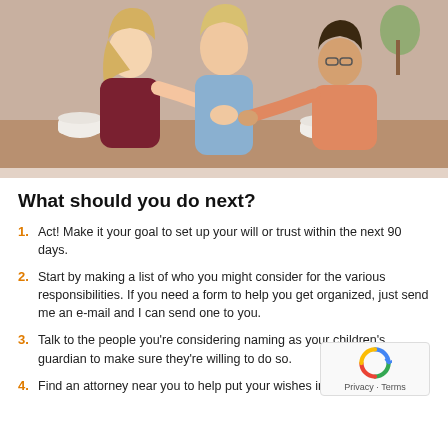[Figure (photo): Three people sitting together, two women comforting a third woman who appears distressed, with coffee cups on a table in front of them.]
What should you do next?
1. Act! Make it your goal to set up your will or trust within the next 90 days.
2. Start by making a list of who you might consider for the various responsibilities. If you need a form to help you get organized, just send me an e-mail and I can send one to you.
3. Talk to the people you're considering naming as your children's guardian to make sure they're willing to do so.
4. Find an attorney near you to help put your wishes into